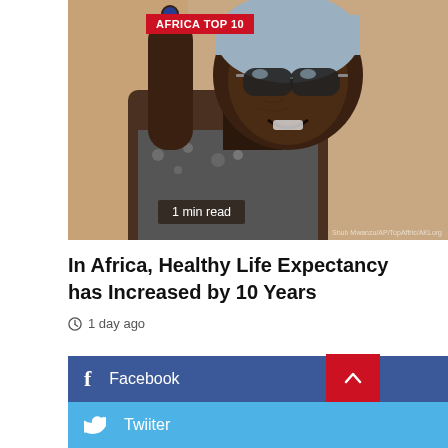[Figure (photo): Elderly African woman wearing sunglasses and a grey headwrap, smiling and holding up one finger with a blue ink mark (voting ink), wearing a patterned grey outfit.]
AFRICA TOP 10
1 min read
In Africa, Healthy Life Expectancy has Increased by 10 Years
1 day ago
Facebook
Twiiter